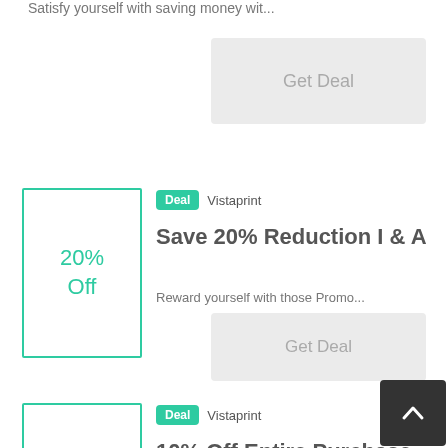Satisfy yourself with saving money wit…
Get Deal
Deal  Vistaprint
Save 20% Reduction I & A
Reward yourself with those Promo…
Get Deal
Deal  Vistaprint
10% Off Entire Purchase
Get everything you need on discounted…
Get Deal